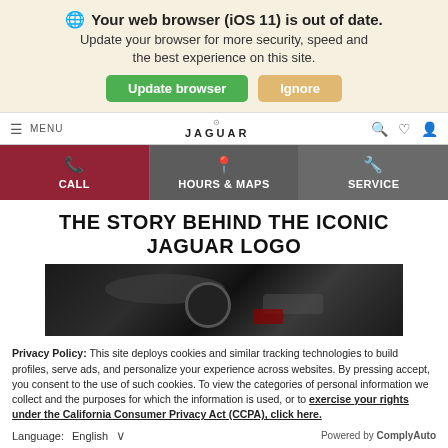Your web browser (iOS 11) is out of date. Update your browser for more security, speed and the best experience on this site.
Update browser | Ignore
MENU | JAGUAR
CALL | HOURS & MAPS | SERVICE
THE STORY BEHIND THE ICONIC JAGUAR LOGO
[Figure (photo): Dark close-up photo of a Jaguar car detail, likely the wheel or body]
Privacy Policy: This site deploys cookies and similar tracking technologies to build profiles, serve ads, and personalize your experience across websites. By pressing accept, you consent to the use of such cookies. To view the categories of personal information we collect and the purposes for which the information is used, or to exercise your rights under the California Consumer Privacy Act (CCPA), click here.
Language: English ∨   Powered by ComplyAuto
Accept and Continue →  California Privacy Disclosures  ×